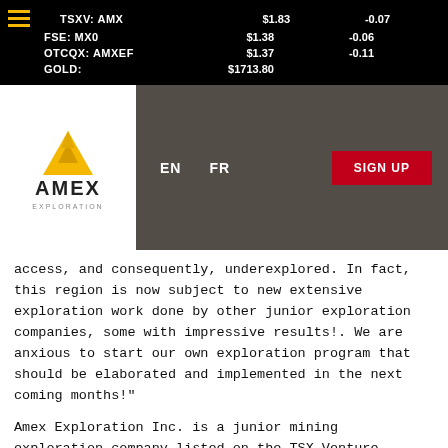TSXV: AMX   $1.83   -0.07
FSE: MX0   $1.38   -0.06
OTCQX: AMXEF   $1.37   -0.11
GOLD:   $1713.80
[Figure (logo): Amex Exploration logo with yellow mountain/triangle icon and AMEX EXPLORATION text]
access, and consequently, underexplored. In fact, this region is now subject to new extensive exploration work done by other junior exploration companies, some with impressive results!. We are anxious to start our own exploration program that should be elaborated and implemented in the next coming months!"
Amex Exploration Inc. is a junior mining exploration company listed on the TSX Venture Exchange whose primary objective is to develop and bring into production viable gold and base metal deposits.